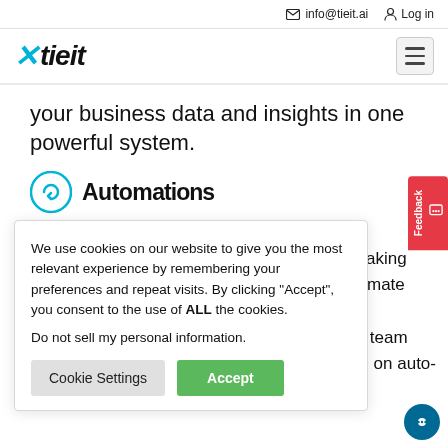info@tieit.ai   Log in
[Figure (logo): tieit.ai logo with cyan X and bold italic 'tieit' text]
your business data and insights in one powerful system.
Automations (partial heading visible)
We use cookies on our website to give you the most relevant experience by remembering your preferences and repeat visits. By clicking "Accept", you consent to the use of ALL the cookies.
Do not sell my personal information.
Cookie Settings   Accept